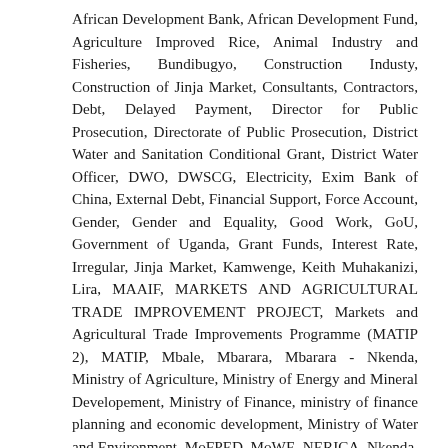African Development Bank, African Development Fund, Agriculture Improved Rice, Animal Industry and Fisheries, Bundibugyo, Construction Industy, Construction of Jinja Market, Consultants, Contractors, Debt, Delayed Payment, Director for Public Prosecution, Directorate of Public Prosecution, District Water and Sanitation Conditional Grant, District Water Officer, DWO, DWSCG, Electricity, Exim Bank of China, External Debt, Financial Support, Force Account, Gender, Gender and Equality, Good Work, GoU, Government of Uganda, Grant Funds, Interest Rate, Irregular, Jinja Market, Kamwenge, Keith Muhakanizi, Lira, MAAIF, MARKETS AND AGRICULTURAL TRADE IMPROVEMENT PROJECT, Markets and Agricultural Trade Improvements Programme (MATIP 2), MATIP, Mbale, Mbarara, Mbarara - Nkenda, Ministry of Agriculture, Ministry of Energy and Mineral Developement, Ministry of Finance, ministry of finance planning and economic development, Ministry of Water and Environment, MoFPED, MoWE, NERICA, Nkenda, Non-Functional Tap Heads, OAG, Office of the Auditor General, PDE, Power, PPDA, Pride, Procuring and Disposing Entity,